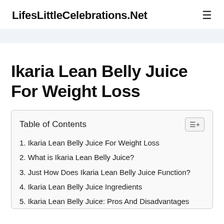LifesLittleCelebrations.Net
Ikaria Lean Belly Juice For Weight Loss
| Table of Contents |
| --- |
| 1. Ikaria Lean Belly Juice For Weight Loss |
| 2. What is Ikaria Lean Belly Juice? |
| 3. Just How Does Ikaria Lean Belly Juice Function? |
| 4. Ikaria Lean Belly Juice Ingredients |
| 5. Ikaria Lean Belly Juice: Pros And Disadvantages |